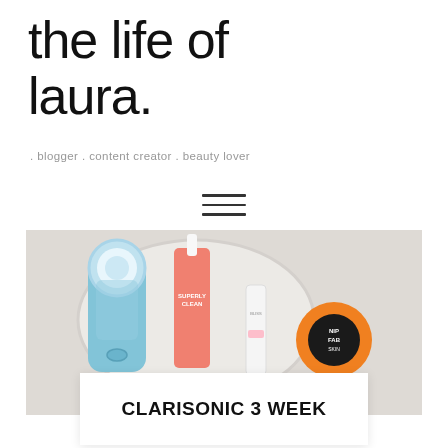the life of laura.
. blogger . content creator . beauty lover
[Figure (illustration): Hamburger menu icon (three horizontal lines)]
[Figure (photo): Flat-lay photo of skincare products on a white plate on a light surface: Clarisonic brush (blue), Superly Clean foaming cleanser (coral/orange), a small white tube, and a NIP FAB SKIN pot (orange lid with black center)]
CLARISONIC 3 WEEK